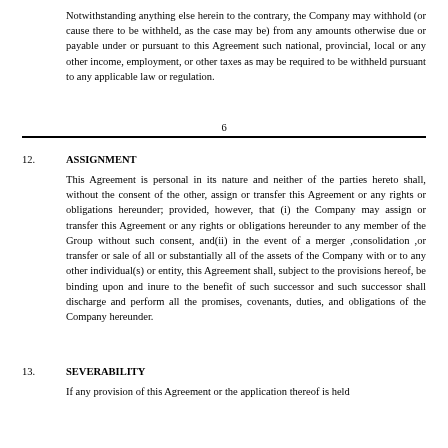Notwithstanding anything else herein to the contrary, the Company may withhold (or cause there to be withheld, as the case may be) from any amounts otherwise due or payable under or pursuant to this Agreement such national, provincial, local or any other income, employment, or other taxes as may be required to be withheld pursuant to any applicable law or regulation.
6
12.    ASSIGNMENT
This Agreement is personal in its nature and neither of the parties hereto shall, without the consent of the other, assign or transfer this Agreement or any rights or obligations hereunder; provided, however, that (i) the Company may assign or transfer this Agreement or any rights or obligations hereunder to any member of the Group without such consent, and(ii) in the event of a merger ,consolidation ,or transfer or sale of all or substantially all of the assets of the Company with or to any other individual(s) or entity, this Agreement shall, subject to the provisions hereof, be binding upon and inure to the benefit of such successor and such successor shall discharge and perform all the promises, covenants, duties, and obligations of the Company hereunder.
13.    SEVERABILITY
If any provision of this Agreement or the application thereof is held